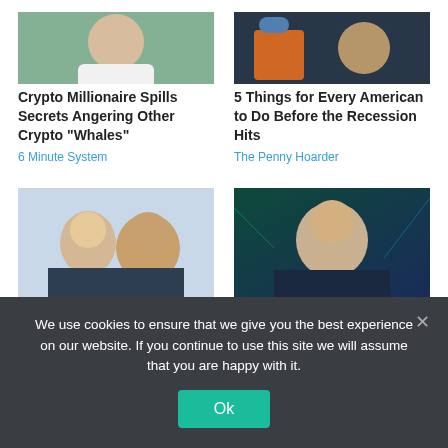[Figure (photo): Man in white v-neck shirt, outdoor/nature background]
[Figure (photo): Blonde woman holding an orange water bottle, looking at camera]
Crypto Millionaire Spills Secrets Angering Other Crypto “Whales”
6 Minute System
5 Things for Every American to Do Before the Recession Hits
The Penny Hoarder
[Figure (photo): Smiling older couple, woman with short blonde hair, man in suit]
[Figure (photo): Bald older man in light blue shirt against a digital/tech background]
We use cookies to ensure that we give you the best experience on our website. If you continue to use this site we will assume that you are happy with it.